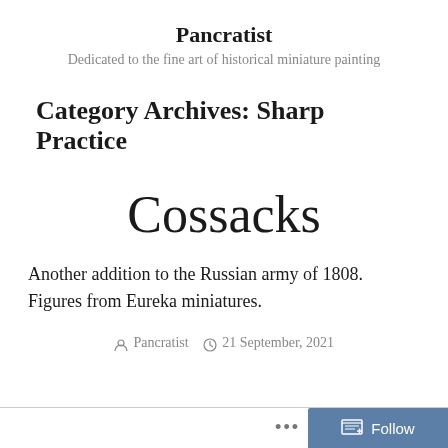Pancratist
Dedicated to the fine art of historical miniature painting
Category Archives: Sharp Practice
Cossacks
Another addition to the Russian army of 1808. Figures from Eureka miniatures.
Pancratist   21 September, 2021